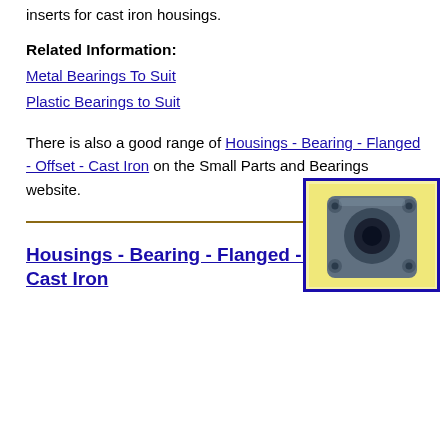inserts for cast iron housings.
Related Information:
Metal Bearings To Suit
Plastic Bearings to Suit
There is also a good range of Housings - Bearing - Flanged - Offset - Cast Iron on the Small Parts and Bearings website.
Housings - Bearing - Flanged - Round - Cast Iron
[Figure (photo): Photo of a cast iron flanged round bearing housing, blue/grey in color with bolt holes, in a blue-bordered box with yellow background.]